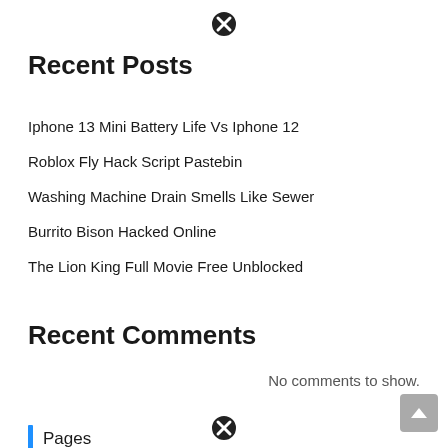[Figure (other): Close/dismiss button icon (circled X) at top center]
Recent Posts
Iphone 13 Mini Battery Life Vs Iphone 12
Roblox Fly Hack Script Pastebin
Washing Machine Drain Smells Like Sewer
Burrito Bison Hacked Online
The Lion King Full Movie Free Unblocked
Recent Comments
No comments to show.
Pages
Contact
Cookie Policy
Disclaimer
[Figure (other): Close/dismiss button icon (circled X) at bottom center]
[Figure (other): Scroll-to-top button (grey square with up arrow) at bottom right]